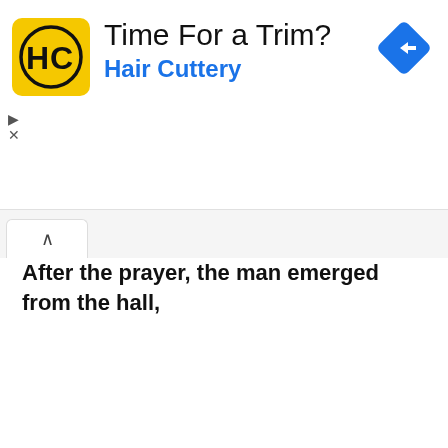[Figure (infographic): Advertisement banner for Hair Cuttery. Yellow square logo with HC monogram, text 'Time For a Trim?' and 'Hair Cuttery' in blue, blue diamond navigation icon in top right, play and close (X) controls on left side.]
[Figure (screenshot): Browser tab bar showing one active tab with an upward caret (^) icon.]
After the prayer, the man emerged from the hall,